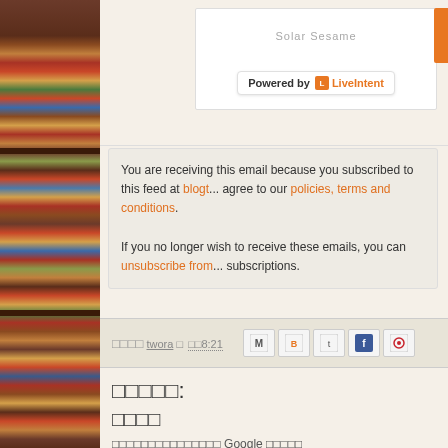[Figure (photo): Left side bookshelf with colorful book spines arranged vertically]
Solar Sesame
Powered by LiveIntent
You are receiving this email because you subscribed to this feed at blogt... agree to our policies, terms and conditions.

If you no longer wish to receive these emails, you can unsubscribe from... subscriptions.
xxxxxxxx twora x xx8:21
[Figure (infographic): Share buttons for Gmail, Blogger, Twitter, Facebook, Pinterest]
xxxxx:
xxxx
xxxxxxxxxxxxxxx Google xxxxx
xx GOOGLE xxxx